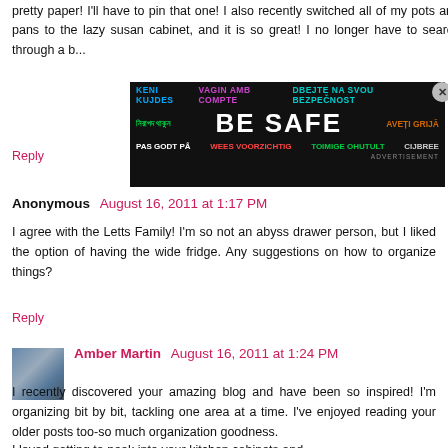pretty paper! I'll have to pin that one! I also recently switched all of my pots and pans to the lazy susan cabinet, and it is so great! I no longer have to search through a b...
Reply
[Figure (infographic): Safety advertisement banner with multilingual 'BE SAFE' text in various colors on dark background]
Anonymous  August 16, 2011 at 1:17 PM
I agree with the Letts Family! I'm so not an abyss drawer person, but I liked the option of having the wide fridge. Any suggestions on how to organize things?
Reply
Amber Martin  August 16, 2011 at 1:24 PM
I recently discovered your amazing blog and have been so inspired! I'm organizing bit by bit, tackling one area at a time. I've enjoyed reading your older posts too-so much organization goodness.
I loved getting to peek into your kitchen cabinets and